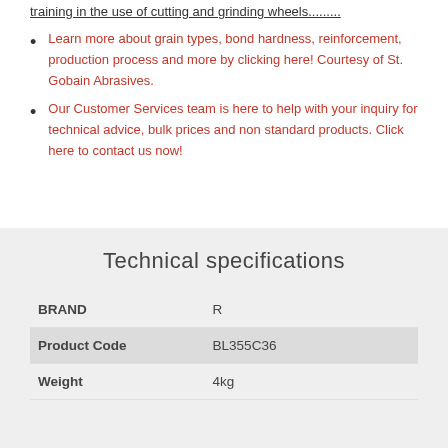training in the use of cutting and grinding wheels........
Learn more about grain types, bond hardness, reinforcement, production process and more by clicking here! Courtesy of St. Gobain Abrasives.
Our Customer Services team is here to help with your inquiry for technical advice, bulk prices and non standard products. Click here to contact us now!
Technical specifications
|  |  |
| --- | --- |
| BRAND | R |
| Product Code | BL355C36 |
| Weight | 4kg |